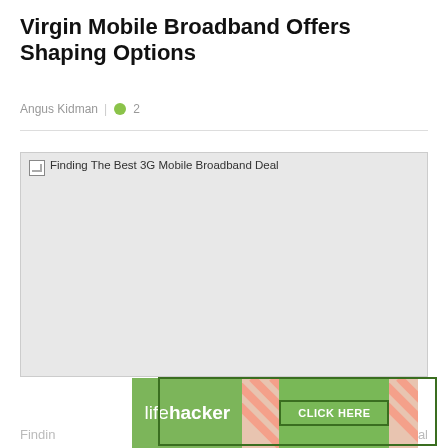Virgin Mobile Broadband Offers Shaping Options
Angus Kidman  |  💬 2
[Figure (photo): Broken image placeholder with alt text 'Finding The Best 3G Mobile Broadband Deal' on a light grey background]
COMMUNICATE
14 YEARS AGO
[Figure (infographic): Advertisement banner: Lifehacker logo on green background, diagonal stripe pattern, green 'CLICK HERE' button, with article preview text 'Findin... al']